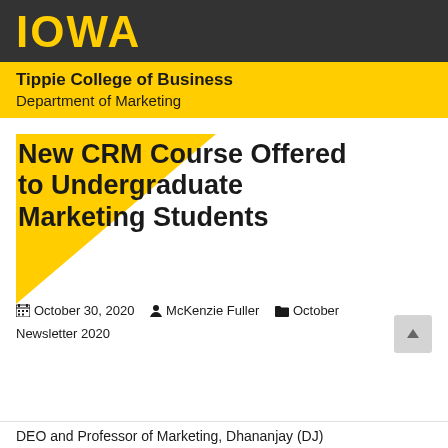IOWA
Tippie College of Business
Department of Marketing
New CRM Course Offered to Undergraduate Marketing Students
October 30, 2020   McKenzie Fuller   October Newsletter 2020
DEO and Professor of Marketing, Dhananjay (DJ)